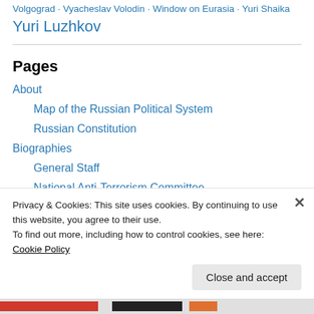Volgograd · Vyacheslav Volodin · Window on Eurasia · Yuri Shaika · Yuri Luzhkov
Pages
About
Map of the Russian Political System
Russian Constitution
Biographies
General Staff
National Anti-Terrorism Committee
Alexander Torshin
President's Regional Envoys
Privacy & Cookies: This site uses cookies. By continuing to use this website, you agree to their use. To find out more, including how to control cookies, see here: Cookie Policy
Close and accept